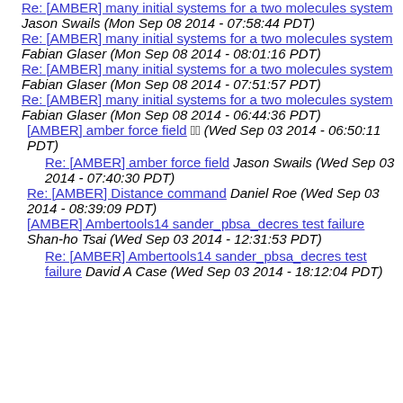Re: [AMBER] many initial systems for a two molecules system Jason Swails (Mon Sep 08 2014 - 07:58:44 PDT)
Re: [AMBER] many initial systems for a two molecules system Fabian Glaser (Mon Sep 08 2014 - 08:01:16 PDT)
Re: [AMBER] many initial systems for a two molecules system Fabian Glaser (Mon Sep 08 2014 - 07:51:57 PDT)
Re: [AMBER] many initial systems for a two molecules system Fabian Glaser (Mon Sep 08 2014 - 06:44:36 PDT)
[AMBER] amber force field (Wed Sep 03 2014 - 06:50:11 PDT)
Re: [AMBER] amber force field Jason Swails (Wed Sep 03 2014 - 07:40:30 PDT)
Re: [AMBER] Distance command Daniel Roe (Wed Sep 03 2014 - 08:39:09 PDT)
[AMBER] Ambertools14 sander_pbsa_decres test failure Shan-ho Tsai (Wed Sep 03 2014 - 12:31:53 PDT)
Re: [AMBER] Ambertools14 sander_pbsa_decres test failure David A Case (Wed Sep 03 2014 - 18:12:04 PDT)